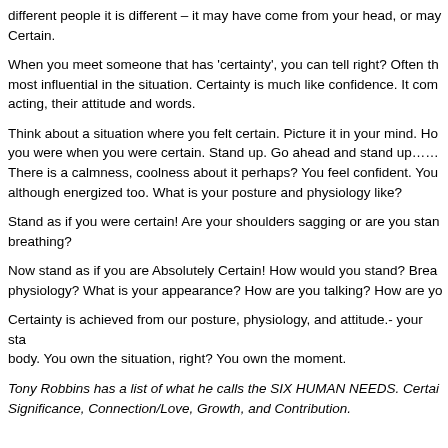different people it is different – it may have come from your head, or may Certain.
When you meet someone that has 'certainty', you can tell right? Often th most influential in the situation. Certainty is much like confidence. It com acting, their attitude and words.
Think about a situation where you felt certain. Picture it in your mind. Ho you were when you were certain. Stand up. Go ahead and stand up…… There is a calmness, coolness about it perhaps? You feel confident. You although energized too. What is your posture and physiology like?
Stand as if you were certain! Are your shoulders sagging or are you stan breathing?
Now stand as if you are Absolutely Certain! How would you stand? Brea physiology? What is your appearance? How are you talking? How are yo
Certainty is achieved from our posture, physiology, and attitude.- your sta body. You own the situation, right? You own the moment.
Tony Robbins has a list of what he calls the SIX HUMAN NEEDS. Certai Significance, Connection/Love, Growth, and Contribution.